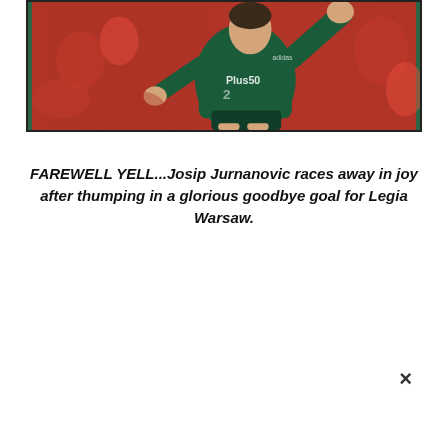[Figure (photo): A football player in a dark green Legia Warsaw kit with 'Plus50' sponsor, celebrating with arm raised in a fist pump, blurred red crowd in background.]
FAREWELL YELL...Josip Jurnanovic races away in joy after thumping in a glorious goodbye goal for Legia Warsaw.